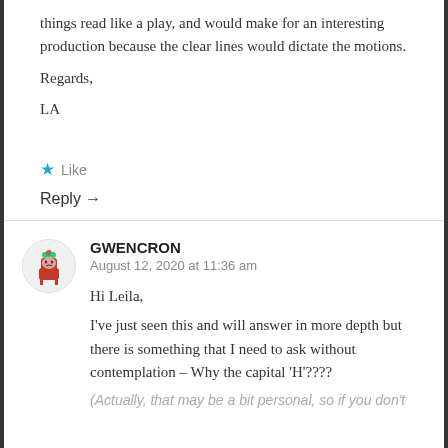things read like a play, and would make for an interesting production because the clear lines would dictate the motions.
Regards,
LA
★ Like
Reply →
GWENCRON
August 12, 2020 at 11:36 am
Hi Leila,
I've just seen this and will answer in more depth but there is something that I need to ask without contemplation – Why the capital 'H'????
(Actually, that may be a bit personal, so if you don't